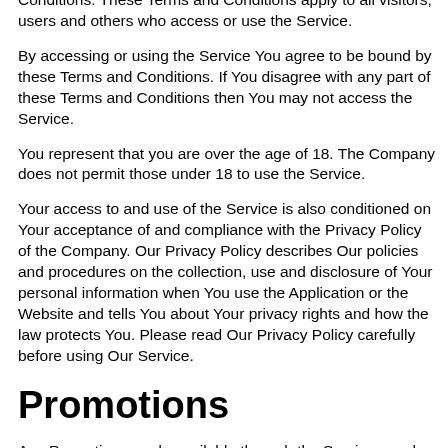Conditions. These Terms and Conditions apply to all visitors, users and others who access or use the Service.
By accessing or using the Service You agree to be bound by these Terms and Conditions. If You disagree with any part of these Terms and Conditions then You may not access the Service.
You represent that you are over the age of 18. The Company does not permit those under 18 to use the Service.
Your access to and use of the Service is also conditioned on Your acceptance of and compliance with the Privacy Policy of the Company. Our Privacy Policy describes Our policies and procedures on the collection, use and disclosure of Your personal information when You use the Application or the Website and tells You about Your privacy rights and how the law protects You. Please read Our Privacy Policy carefully before using Our Service.
Promotions
Any Promotions made available through the Service may be governed by rules that are separate from these Terms...